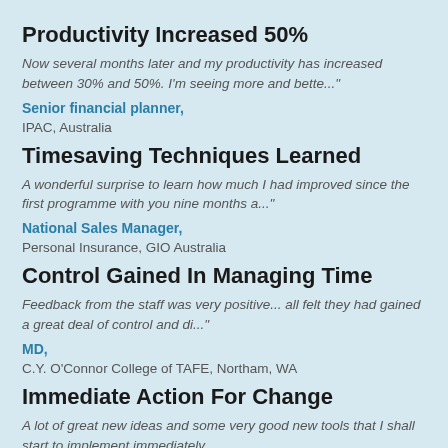Productivity Increased 50%
Now several months later and my productivity has increased between 30% and 50%. I'm seeing more and bette..."
Senior financial planner,
IPAC, Australia
Timesaving Techniques Learned
A wonderful surprise to learn how much I had improved since the first programme with you nine months a..."
National Sales Manager,
Personal Insurance, GIO Australia
Control Gained In Managing Time
Feedback from the staff was very positive... all felt they had gained a great deal of control and di..."
MD,
C.Y. O'Connor College of TAFE, Northam, WA
Immediate Action For Change
A lot of great new ideas and some very good new tools that I shall start to implement immediately..."